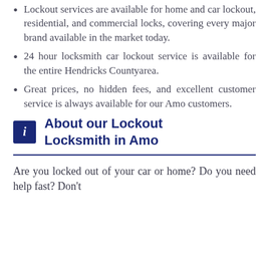Lockout services are available for home and car lockout, residential, and commercial locks, covering every major brand available in the market today.
24 hour locksmith car lockout service is available for the entire Hendricks Countyarea.
Great prices, no hidden fees, and excellent customer service is always available for our Amo customers.
About our Lockout Locksmith in Amo
Are you locked out of your car or home? Do you need help fast? Don't